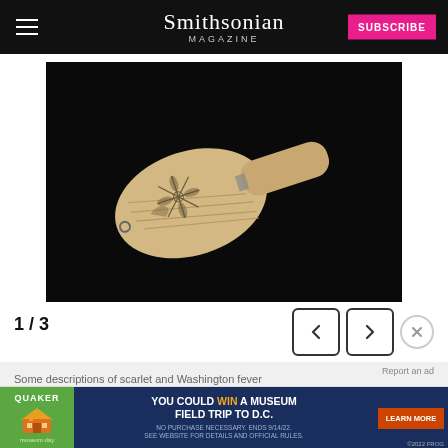Smithsonian Magazine
[Figure (photo): A bone or ivory paddle-shaped object with engraved floral/star designs on a black background. The object appears to be a scrimshaw or decorated laundry paddle with a handle on the right side.]
1 / 3
Some descriptions of scarlet and Washington fever states, officially attributed…was added to the back of the paddle. National Postal Museum
[Figure (other): Quaker Museum Day advertisement banner: YOU COULD WIN A MUSEUM FIELD TRIP TO D.C. with LEARN MORE button]